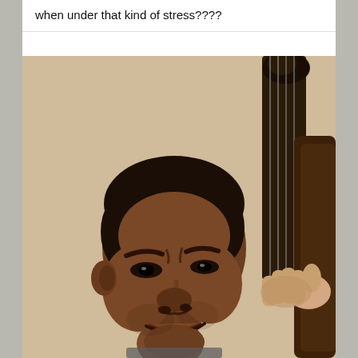when under that kind of stress????
[Figure (illustration): Portrait illustration of a Black man with a pained/intense expression, playing or holding an upright bass (double bass). The neck and strings of the instrument are visible on the right side of the image, with a hand gripping the strings. The background is a warm beige/tan color. The image appears to be a realistic color drawing or painting.]